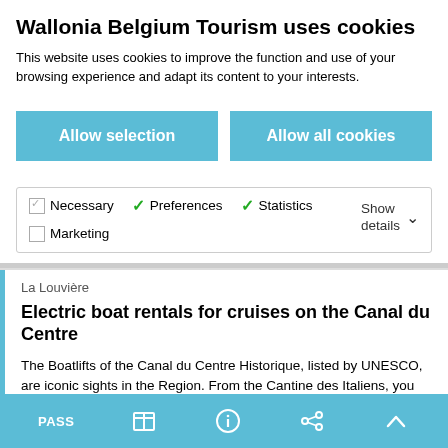Wallonia Belgium Tourism uses cookies
This website uses cookies to improve the function and use of your browsing experience and adapt its content to your interests.
Allow selection
Allow all cookies
Necessary  Preferences  Statistics  Marketing  Show details
La Louvière
Electric boat rentals for cruises on the Canal du Centre
The Boatlifts of the Canal du Centre Historique, listed by UNESCO, are iconic sights in the Region. From the Cantine des Italiens, you can rent electric boats (no permit required!) and indulge
PASS